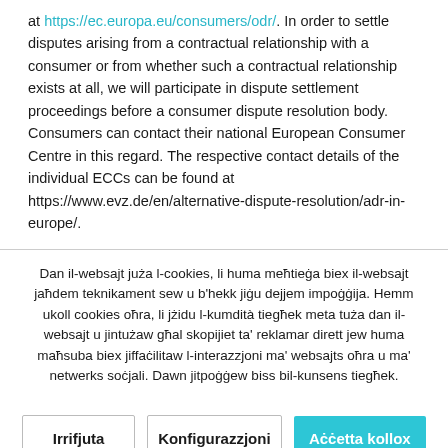at https://ec.europa.eu/consumers/odr/. In order to settle disputes arising from a contractual relationship with a consumer or from whether such a contractual relationship exists at all, we will participate in dispute settlement proceedings before a consumer dispute resolution body. Consumers can contact their national European Consumer Centre in this regard. The respective contact details of the individual ECCs can be found at https://www.evz.de/en/alternative-dispute-resolution/adr-in-europe/.
Dan il-websajt juża l-cookies, li huma meħtieġa biex il-websajt jaħdem teknikament sew u b'hekk jiġu dejjem impoġġija. Hemm ukoll cookies oħra, li jżidu l-kumdità tiegħek meta tuża dan il-websajt u jintużaw għal skopijiet ta' reklamar dirett jew huma maħsuba biex jiffaċilitaw l-interazzjoni ma' websajts oħra u ma' netwerks soċjali. Dawn jitpoġġew biss bil-kunsens tiegħek.
Irrifjuta
Konfigurazzjoni
Aċċetta kollox